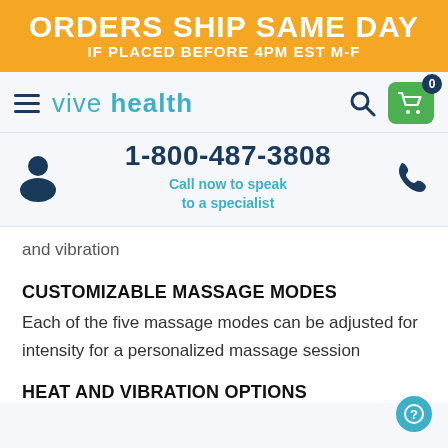ORDERS SHIP SAME DAY
IF PLACED BEFORE 4PM EST M-F
[Figure (logo): Vive Health logo with hamburger menu, search icon, and shopping cart with badge 0]
1-800-487-3808
Call now to speak to a specialist
and vibration
CUSTOMIZABLE MASSAGE MODES
Each of the five massage modes can be adjusted for intensity for a personalized massage session
HEAT AND VIBRATION OPTIONS